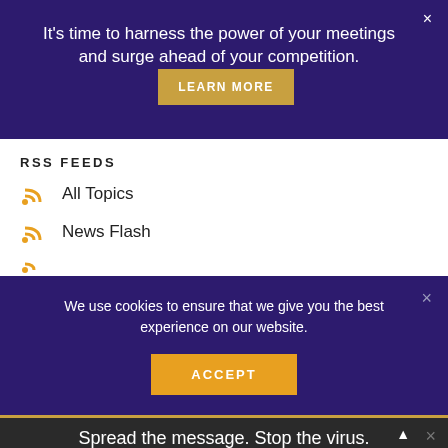It’s time to harness the power of your meetings and surge ahead of your competition.
LEARN MORE
RSS FEEDS
All Topics
News Flash
We use cookies to ensure that we give you the best experience on our website.
ACCEPT
Spread the message. Stop the virus.
HANDS Wash often | ELBOW Cough into | FACE Don’t touch | SPACE Avoid crowds | HOME Stay inside
4,261,747 Confirmed | 1,493,414 Recovered
Resource